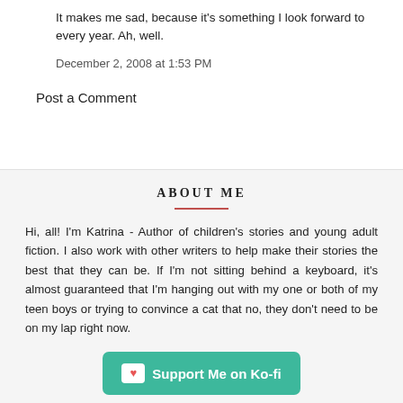It makes me sad, because it's something I look forward to every year. Ah, well.
December 2, 2008 at 1:53 PM
Post a Comment
ABOUT ME
Hi, all! I'm Katrina - Author of children's stories and young adult fiction. I also work with other writers to help make their stories the best that they can be. If I'm not sitting behind a keyboard, it's almost guaranteed that I'm hanging out with my one or both of my teen boys or trying to convince a cat that no, they don't need to be on my lap right now.
Support Me on Ko-fi